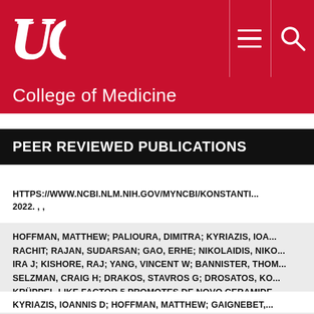[Figure (logo): University of Cincinnati UC logo in white on red background header with hamburger menu and search icons]
College of Medicine
PEER REVIEWED PUBLICATIONS
HTTPS://WWW.NCBI.NLM.NIH.GOV/MYNCBI/KONSTANTI... 2022. , ,
HOFFMAN, MATTHEW; PALIOURA, DIMITRA; KYRIAZIS, IOA... RACHIT; RAJAN, SUDARSAN; GAO, ERHE; NIKOLAIDIS, NIKO... IRA J; KISHORE, RAJ; YANG, VINCENT W; BANNISTER, THOM... SELZMAN, CRAIG H; DRAKOS, STAVROS G; DROSATOS, KO... KRÜPPEL-LIKE FACTOR 5 PROMOTES DE NOVO CERAMIDE ... ECCENTRIC REMODELING IN ISCHEMIC CARDIOMYOPATHY...
KYRIAZIS, IOANNIS D; HOFFMAN, MATTHEW; GAIGNEBET,...